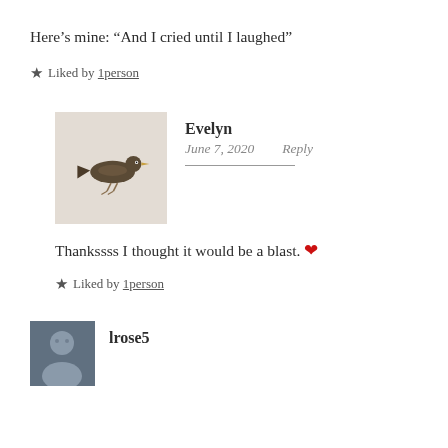Here’s mine: “And I cried until I laughed”
★ Liked by 1person
[Figure (photo): Avatar image of Evelyn showing a small bird figurine or sculpture on a light beige background]
Evelyn
June 7, 2020   Reply
Thankssss I thought it would be a blast. ❤
★ Liked by 1person
[Figure (photo): Small avatar thumbnail of lrose5 showing a person]
lrose5